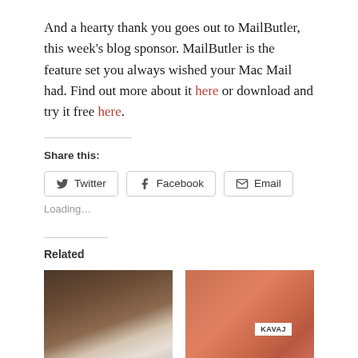And a hearty thank you goes out to MailButler, this week's blog sponsor. MailButler is the feature set you always wished your Mac Mail had. Find out more about it here or download and try it free here.
Share this:
[Figure (other): Share buttons for Twitter, Facebook, and Email with rounded rectangle borders]
Loading...
Related
[Figure (photo): Photo of a dark brown leather wallet or sleeve case with a device inside, on a wooden surface]
[Figure (photo): Photo of a salmon/coral colored envelope-style case with KAVAJ label on white sticker]